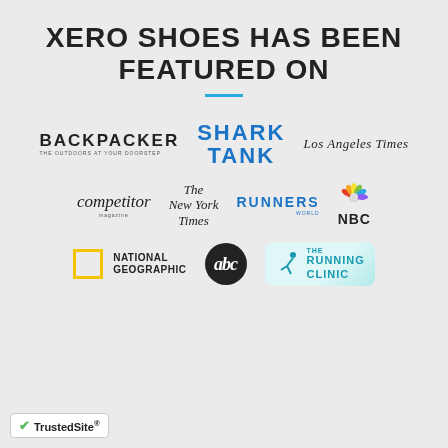XERO SHOES HAS BEEN FEATURED ON
[Figure (logo): BACKPACKER magazine logo]
[Figure (logo): SHARK TANK logo in blue block letters]
[Figure (logo): Los Angeles Times logo in serif italic]
[Figure (logo): competitor magazine logo in italic serif]
[Figure (logo): The New York Times logo in blackletter serif]
[Figure (logo): RUNNERS logo in blue uppercase]
[Figure (logo): NBC logo with peacock icon]
[Figure (logo): National Geographic logo with yellow border square]
[Figure (logo): abc network logo in circle]
[Figure (logo): The Running Clinic logo on light blue background]
[Figure (logo): TrustedSite badge with green checkmark]